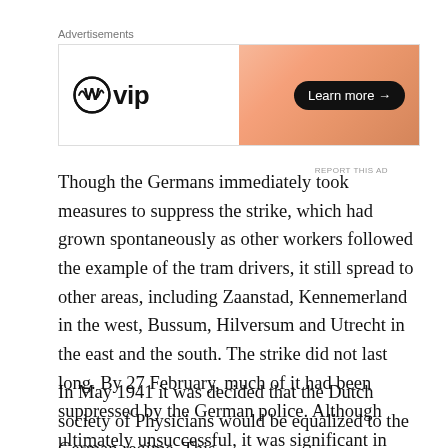[Figure (other): WordPress VIP advertisement banner with gradient orange background and Learn more button]
Though the Germans immediately took measures to suppress the strike, which had grown spontaneously as other workers followed the example of the tram drivers, it still spread to other areas, including Zaanstad, Kennemerland in the west, Bussum, Hilversum and Utrecht in the east and the south. The strike did not last long. By 27 February, much of it had been suppressed by the German police. Although ultimately unsuccessful, it was significant in that it was the first and only direct action against the Nazis' treatment of Jews in Europe.
In May 1941 it was decided that the Dutch society of Physicians would be equalized to the German regime. This